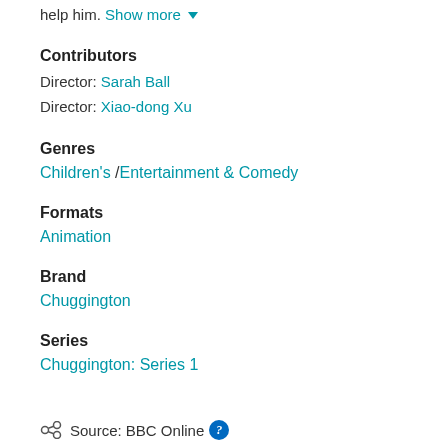help him. Show more
Contributors
Director: Sarah Ball
Director: Xiao-dong Xu
Genres
Children's / Entertainment & Comedy
Formats
Animation
Brand
Chuggington
Series
Chuggington: Series 1
Source: BBC Online